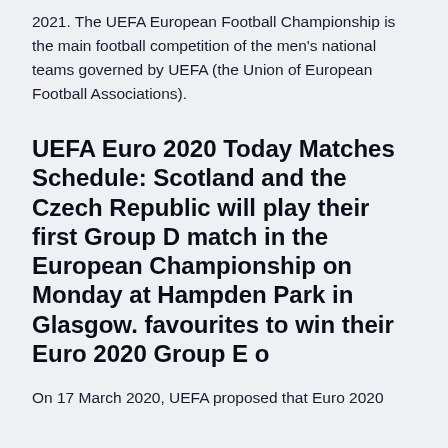2021. The UEFA European Football Championship is the main football competition of the men's national teams governed by UEFA (the Union of European Football Associations).
UEFA Euro 2020 Today Matches Schedule: Scotland and the Czech Republic will play their first Group D match in the European Championship on Monday at Hampden Park in Glasgow. favourites to win their Euro 2020 Group E o
On 17 March 2020, UEFA proposed that Euro 2020